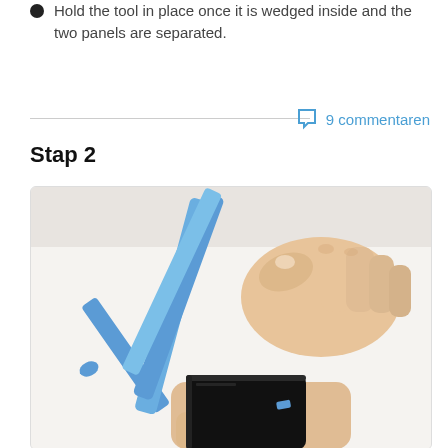Hold the tool in place once it is wedged inside and the two panels are separated.
9 commentaren
Stap 2
[Figure (photo): Hands holding a blue plastic pry tool being inserted into the edge of a black smartphone to separate the panels.]